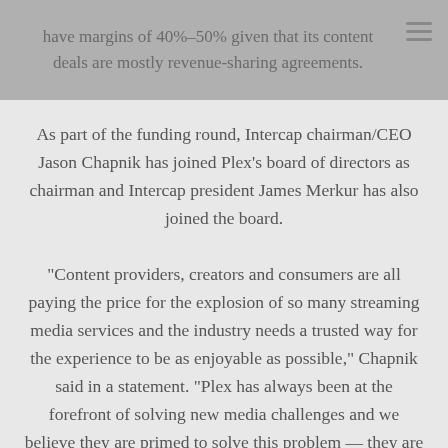have margins of 40%–50% given that its content deals are mostly revenue-sharing agreements.
As part of the funding round, Intercap chairman/CEO Jason Chapnik has joined Plex's board of directors as chairman and Intercap president James Merkur has also joined the board.
“Content providers, creators and consumers are all paying the price for the explosion of so many streaming media services and the industry needs a trusted way for the experience to be as enjoyable as possible,” Chapnik said in a statement. “Plex has always been at the forefront of solving new media challenges and we believe they are primed to solve this problem — they are the cable company of the